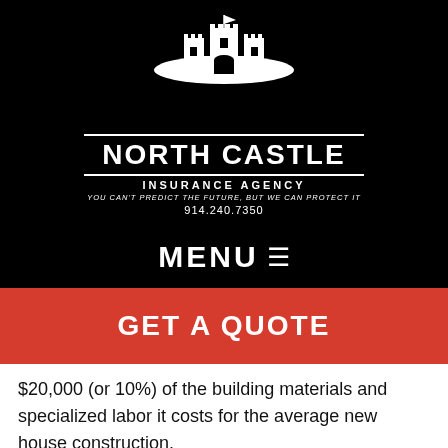[Figure (logo): North Castle Insurance Agency logo with castle illustration on black background]
MENU ☰
GET A QUOTE
$20,000 (or 10%) of the building materials and specialized labor it costs for the average new house construction.
When lumber prices jump as drastically as they have over the past year, those increases get passed along to the